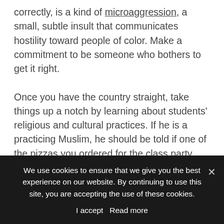correctly, is a kind of microaggression, a small, subtle insult that communicates hostility toward people of color. Make a commitment to be someone who bothers to get it right.

Once you have the country straight, take things up a notch by learning about students' religious and cultural practices. If he is a practicing Muslim, he should be told if one of the pizzas you ordered for the class party has sausage on it. If she comes from a culture where eye contact with adults is viewed as disrespectful, you'll know not to force her to look you in the eye when she's
We use cookies to ensure that we give you the best experience on our website. By continuing to use this site, you are accepting the use of these cookies.
I accept  Read more